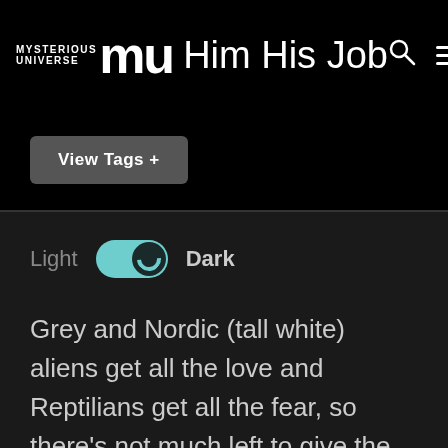Alien Contact Him His Job — Mysterious Universe
View Tags +
Light   Dark
Grey and Nordic (tall white) aliens get all the love and Reptilians get all the fear, so there's not much left to give the Mantis aliens, even among insect lovers. The experience of a man in England who claims he not only witnessed a 7-foot-tall alien mantis exiting from a spacecraft (which he photographed), it forced evil thoughts into his mind and caused him to lose his job at a dog